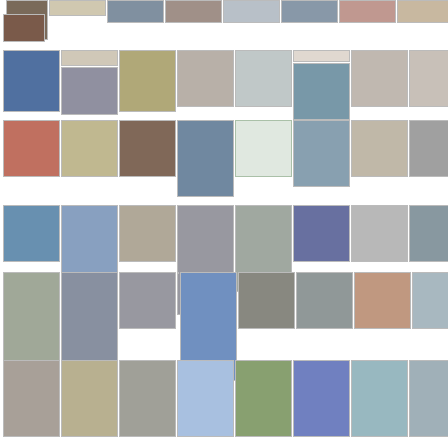[Figure (photo): Grid of thumbnail photographs arranged in rows, showing architectural details, city streets, statues, cathedral facades, sculptures and landscape scenes.]